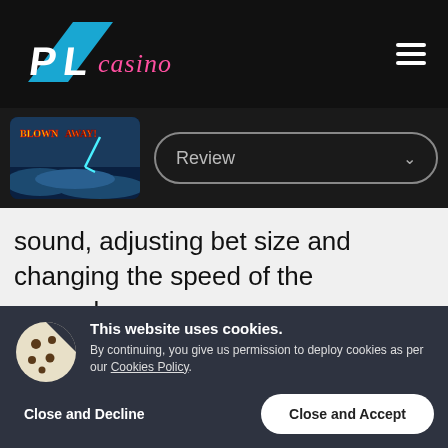[Figure (logo): PL Casino logo — white angular shape with 'PL' and pink cursive 'casino' text on black background]
[Figure (screenshot): Blown Away slot game thumbnail image]
Review
sound, adjusting bet size and changing the speed of the gameplay.
The RTP of this slot is 95.7% which can be considered as average, as it's neither high nor low. This makes it a good slot for all types of
This website uses cookies.
By continuing, you give us permission to deploy cookies as per our Cookies Policy.
Close and Decline
Close and Accept